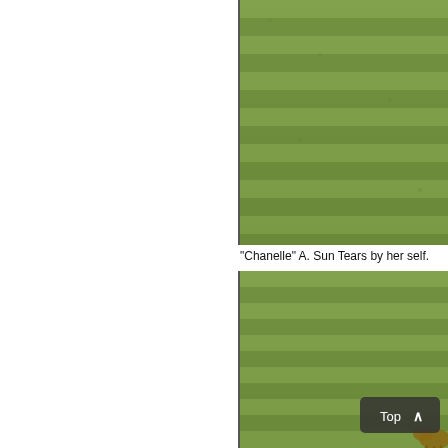[Figure (photo): Aerial/overhead view of green grass field with mowing stripe patterns, cropped — top right portion of page]
"Chanelle" A. Sun Tears by her self.
[Figure (photo): Aerial/overhead view of green grass field with mowing stripe patterns and partial view of an animal at bottom right, with a 'Top ^' navigation button overlay]